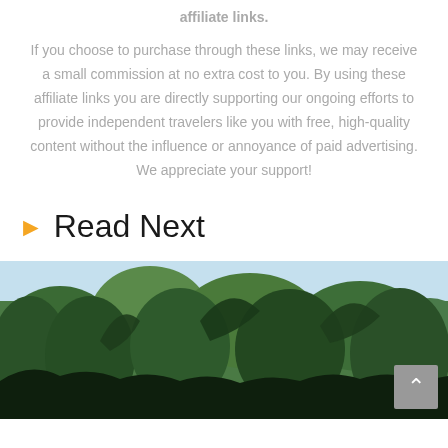affiliate links.
If you choose to purchase through these links, we may receive a small commission at no extra cost to you. By using these affiliate links you are directly supporting our ongoing efforts to provide independent travelers like you with free, high-quality content without the influence or annoyance of paid advertising. We appreciate your support!
Read Next
[Figure (photo): A tropical jungle canopy scene with tall palm trees and lush green foliage against a light blue sky]